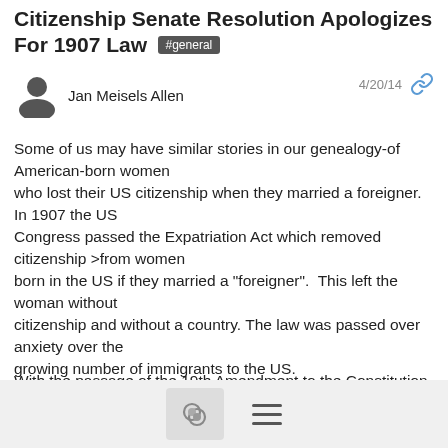Citizenship  Senate Resolution Apologizes For 1907 Law #general
Jan Meisels Allen  4/20/14
Some of us may have similar stories in our genealogy-of American-born women who lost their US citizenship when they married a foreigner. In 1907 the US Congress passed the Expatriation Act which removed citizenship >from women born in the US if they married a "foreigner".  This left the woman without citizenship and without a country. The law was passed over anxiety over the growing number of immigrants to the US.
With the passage of the 19th Amendment to the Constitution giving women the